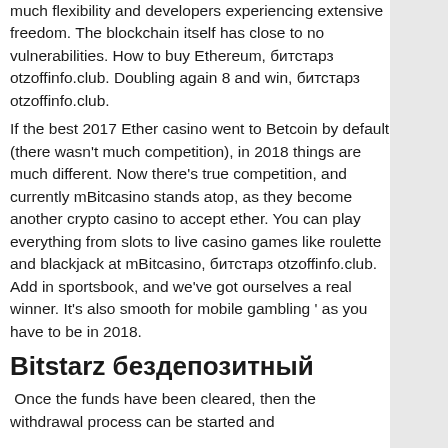much flexibility and developers experiencing extensive freedom. The blockchain itself has close to no vulnerabilities. How to buy Ethereum, битстарз otzoffinfo.club. Doubling again 8 and win, битстарз otzoffinfo.club.
If the best 2017 Ether casino went to Betcoin by default (there wasn't much competition), in 2018 things are much different. Now there's true competition, and currently mBitcasino stands atop, as they become another crypto casino to accept ether. You can play everything from slots to live casino games like roulette and blackjack at mBitcasino, битстарз otzoffinfo.club. Add in sportsbook, and we've got ourselves a real winner. It's also smooth for mobile gambling ' as you have to be in 2018.
Bitstarz бездепозитный
Once the funds have been cleared, then the withdrawal process can be started and